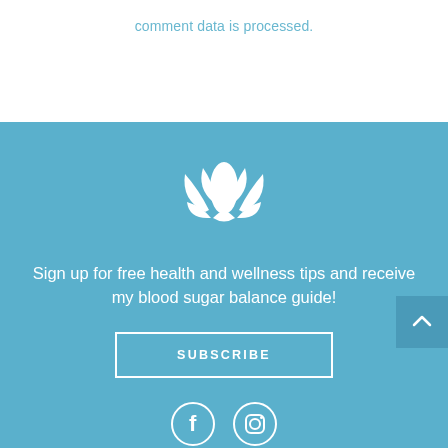comment data is processed.
[Figure (illustration): White lotus flower icon on teal/blue background]
Sign up for free health and wellness tips and receive my blood sugar balance guide!
SUBSCRIBE
[Figure (illustration): Facebook and Instagram social media icons in white circles]